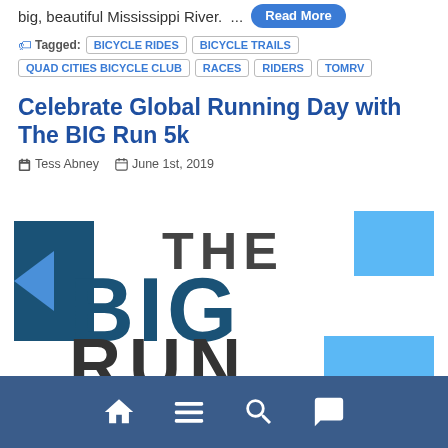big, beautiful Mississippi River. ... Read More
Tagged: BICYCLE RIDES  BICYCLE TRAILS  QUAD CITIES BICYCLE CLUB  RACES  RIDERS  TOMRV
Celebrate Global Running Day with The BIG Run 5k
Tess Abney   June 1st, 2019
[Figure (logo): The BIG Run logo with large bold text on blue and light blue square backgrounds]
Navigation footer with home, menu, search, and chat icons